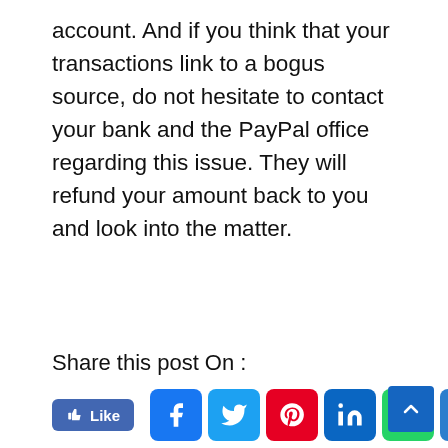account. And if you think that your transactions link to a bogus source, do not hesitate to contact your bank and the PayPal office regarding this issue. They will refund your amount back to you and look into the matter.
Share this post On :
[Figure (other): Social share buttons: Facebook Like, Facebook, Twitter, Pinterest, LinkedIn, WhatsApp, Share More]
[Figure (photo): Author bio card with circular photo of Kishan Rana and text: Kishan Rana is a SEO Consultant and professional Blogger. He has 5+ years of experience in Digital Marketing like SEO, SMO, ASO ORM &]
Kishan Rana
Kishan Rana is a SEO Consultant and professional Blogger. He has 5+ years of experience in Digital Marketing like SEO, SMO, ASO ORM &